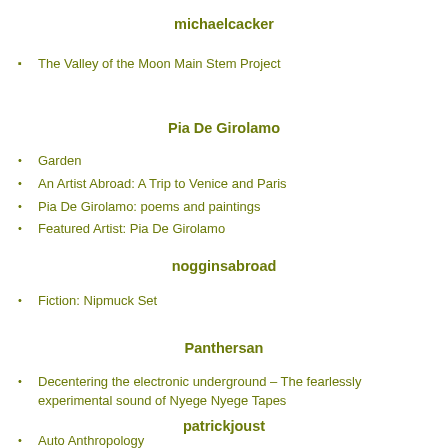michaelcacker
The Valley of the Moon Main Stem Project
Pia De Girolamo
Garden
An Artist Abroad: A Trip to Venice and Paris
Pia De Girolamo: poems and paintings
Featured Artist: Pia De Girolamo
nogginsabroad
Fiction: Nipmuck Set
Panthersan
Decentering the electronic underground – The fearlessly experimental sound of Nyege Nyege Tapes
patrickjoust
Auto Anthropology